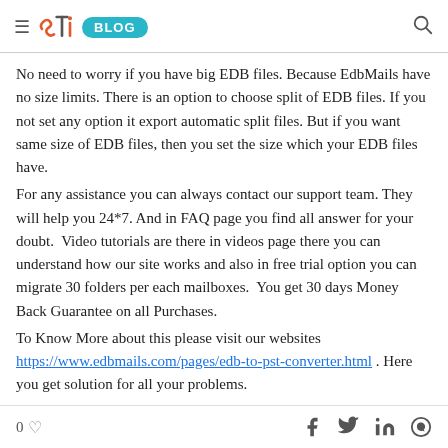≡ STi BLOG 🔍
No need to worry if you have big EDB files. Because EdbMails have no size limits. There is an option to choose split of EDB files. If you not set any option it export automatic split files. But if you want same size of EDB files, then you set the size which your EDB files have.
For any assistance you can always contact our support team. They will help you 24*7. And in FAQ page you find all answer for your doubt. Video tutorials are there in videos page there you can understand how our site works and also in free trial option you can migrate 30 folders per each mailboxes. You get 30 days Money Back Guarantee on all Purchases.
To Know More about this please visit our websites https://www.edbmails.com/pages/edb-to-pst-converter.html . Here you get solution for all your problems.
0 ♡ f 𝕏 in ⊕